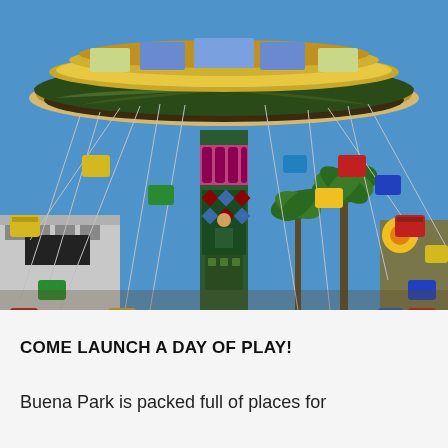[Figure (photo): A colorful swing carousel ride at an amusement park (Buena Park) against a bright blue sky. The large ornate spinning top canopy has decorative panels and chains with swinging gondola seats in red, yellow, green, blue colors. Palm trees and park buildings visible in the background.]
COME LAUNCH A DAY OF PLAY!
Buena Park is packed full of places for